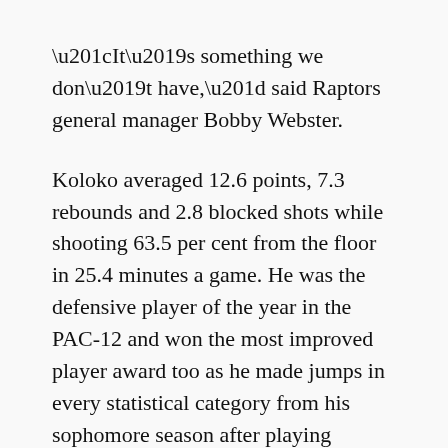“It’s something we don’t have,” said Raptors general manager Bobby Webster.
Koloko averaged 12.6 points, 7.3 rebounds and 2.8 blocked shots while shooting 63.5 per cent from the floor in 25.4 minutes a game. He was the defensive player of the year in the PAC-12 and won the most improved player award too as he made jumps in every statistical category from his sophomore season after playing sparingly as a freshman.
The Raptors have been tracking him since a Basketball Without Borders camp in 2017 when the now 22-year-old was a “long, skinny, lanky kid,” said Webster. “You want to continue to see that climb and everyone knows our development